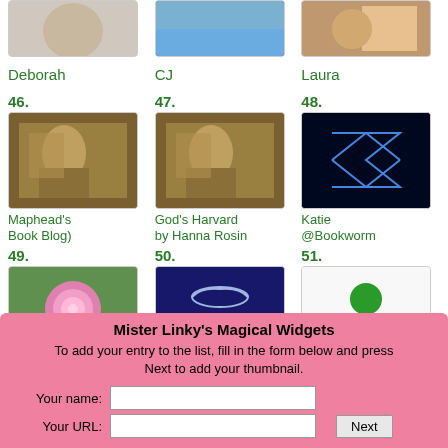[Figure (photo): Thumbnail image for Deborah (partially visible at top)]
Deborah
[Figure (photo): Thumbnail image for CJ (partially visible at top)]
CJ
[Figure (photo): Thumbnail image for Laura (partially visible at top)]
Laura
46. Maphead's Book Blog)
[Figure (photo): Thumbnail showing a person reading a book, entry 46 Maphead's Book Blog]
47. God's Harvard by Hanna Rosin
[Figure (photo): Thumbnail showing a person reading a book, entry 47 God's Harvard by Hanna Rosin]
48. Katie @Bookworm
[Figure (photo): Thumbnail showing geometric blue shapes on black background, entry 48 Katie @Bookworm]
49. Rosa44
[Figure (photo): Thumbnail showing a pink rose, entry 49 Rosa44]
50. BookerTalk
[Figure (logo): Booker Talk logo on dark blue background, entry 50]
51. You're next!
[Figure (illustration): Green person silhouette icon on white, entry 51 You're next!]
Mister Linky's Magical Widgets
To add your entry to the list, fill in the form below and press Next to add your thumbnail.
Your name:
Your URL: